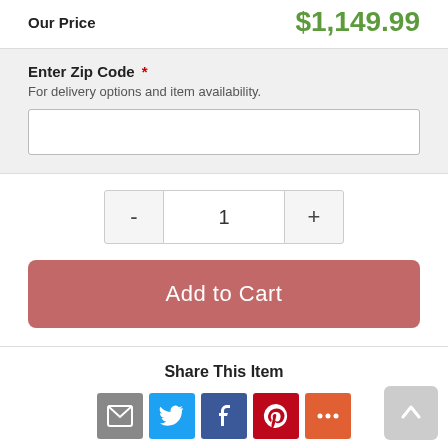Our Price   $1,149.99
Enter Zip Code *
For delivery options and item availability.
1 (quantity selector)
Add to Cart
Share This Item
[Figure (infographic): Social share icons: email, Twitter, Facebook, Pinterest, More]